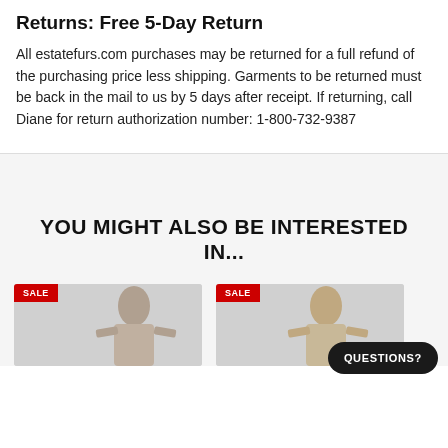Returns: Free 5-Day Return
All estatefurs.com purchases may be returned for a full refund of the purchasing price less shipping. Garments to be returned must be back in the mail to us by 5 days after receipt. If returning, call Diane for return authorization number: 1-800-732-9387
YOU MIGHT ALSO BE INTERESTED IN...
[Figure (photo): Product thumbnail showing a woman modeling a fur coat, with a red SALE badge in the top-left corner]
[Figure (photo): Product thumbnail showing a woman modeling a fur coat, with a red SALE badge in the top-left corner]